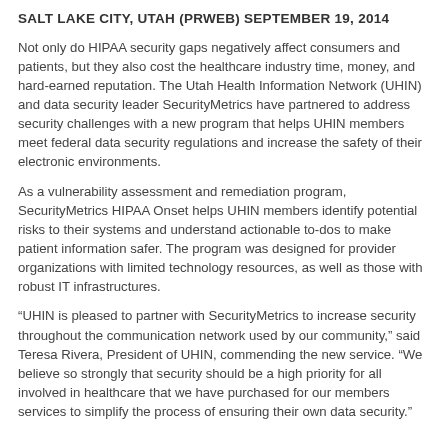SALT LAKE CITY, UTAH (PRWEB) SEPTEMBER 19, 2014
Not only do HIPAA security gaps negatively affect consumers and patients, but they also cost the healthcare industry time, money, and hard-earned reputation. The Utah Health Information Network (UHIN) and data security leader SecurityMetrics have partnered to address security challenges with a new program that helps UHIN members meet federal data security regulations and increase the safety of their electronic environments.
As a vulnerability assessment and remediation program, SecurityMetrics HIPAA Onset helps UHIN members identify potential risks to their systems and understand actionable to-dos to make patient information safer. The program was designed for provider organizations with limited technology resources, as well as those with robust IT infrastructures.
“UHIN is pleased to partner with SecurityMetrics to increase security throughout the communication network used by our community,” said Teresa Rivera, President of UHIN, commending the new service. “We believe so strongly that security should be a high priority for all involved in healthcare that we have purchased for our members services to simplify the process of ensuring their own data security.”